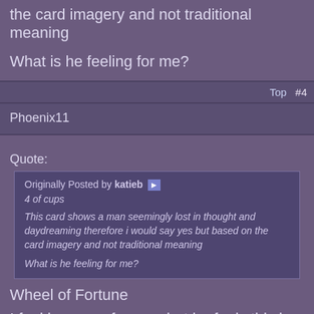the card imagery and not traditional meaning
What is he feeling for me?
Top  #4
Phoenix11
Quote:
Originally Posted by katieb
4 of cups

This card shows a man seemingly lost in thought and daydreaming therefore i would say yes but based on the card imagery and not traditional meaning

What is he feeling for me?
Wheel of Fortune
I feel he cares for you, but he feels this is time for you